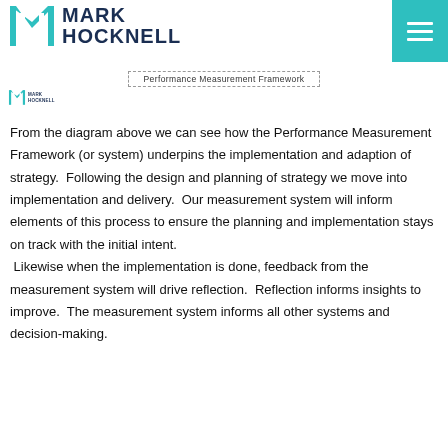MARK HOCKNELL
[Figure (logo): Mark Hocknell logo with teal M letterform and dark navy text MARK HOCKNELL, plus teal hamburger menu button]
Performance Measurement Framework
From the diagram above we can see how the Performance Measurement Framework (or system) underpins the implementation and adaption of strategy.  Following the design and planning of strategy we move into implementation and delivery.  Our measurement system will inform elements of this process to ensure the planning and implementation stays on track with the initial intent.  Likewise when the implementation is done, feedback from the measurement system will drive reflection.  Reflection informs insights to improve.  The measurement system informs all other systems and decision-making.